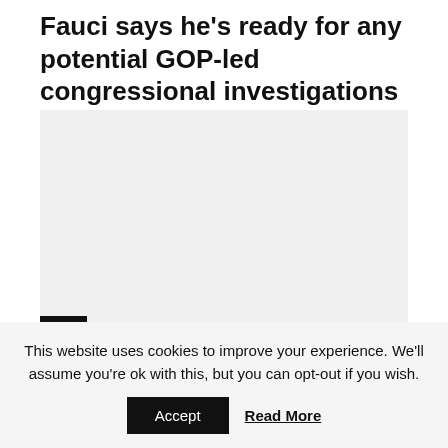Fauci says he's ready for any potential GOP-led congressional investigations and...
[Figure (photo): Image placeholder area (white/light gray)]
Asia
Covid-19 fourth wave scare! New Omicron sub-variant found in India. may...
This website uses cookies to improve your experience. We'll assume you're ok with this, but you can opt-out if you wish.
Accept
Read More